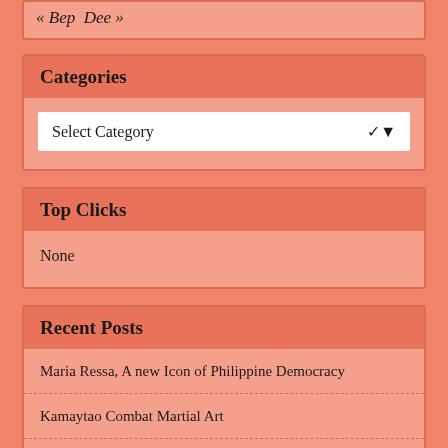« Bep Dee »
Categories
Select Category
Top Clicks
None
Recent Posts
Maria Ressa, A new Icon of Philippine Democracy
Kamaytao Combat Martial Art
Peace must prevail
Smoke Gets In Your Eyes